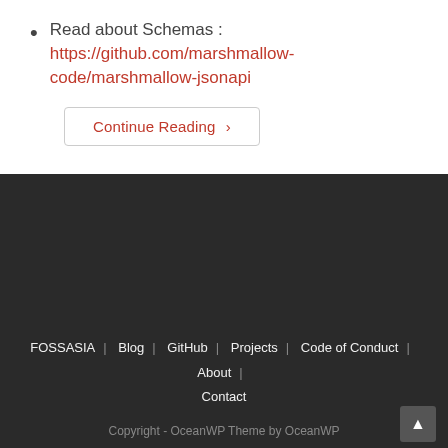Read about Schemas : https://github.com/marshmallow-code/marshmallow-jsonapi
Continue Reading ›
FOSSASIA | Blog | GitHub | Projects | Code of Conduct | About | Contact
Copyright - OceanWP Theme by OceanWP